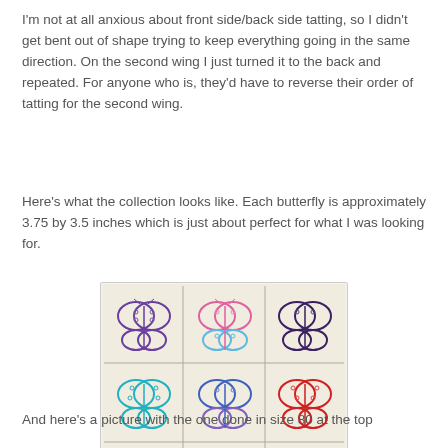I'm not at all anxious about front side/back side tatting, so I didn't get bent out of shape trying to keep everything going in the same direction. On the second wing I just turned it to the back and repeated. For anyone who is, they'd have to reverse their order of tatting for the second wing.
Here's what the collection looks like. Each butterfly is approximately 3.75 by 3.5 inches which is just about perfect for what I was looking for.
[Figure (photo): A collection of 9 tatted lace butterflies arranged in a 3x3 grid on a pale background. Row 1: purple butterfly, pink/blue butterfly, dark purple butterfly. Row 2: teal/blue butterfly, blue/purple butterfly, red butterfly. Row 3: silver/white butterfly, dark/colorful butterfly, silver/blue butterfly.]
And here's a picture with the one done in size 80 at the top